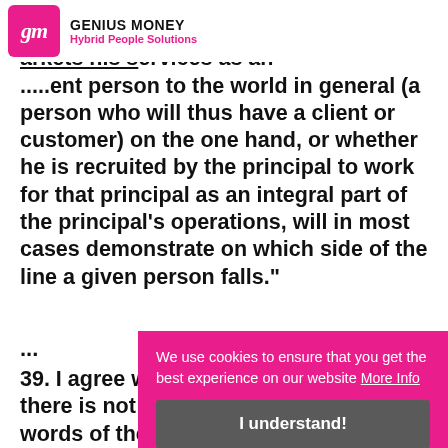GENIUS MONEY Hybrid People Solutions
whether the purported worker markets his services as an independent person to the world in general (a person who will thus have a client or customer) on the one hand, or whether he is recruited by the principal to work for that principal as an integral part of the principal's operations, will in most cases demonstrate on which side of the line a given person falls."
...
39. I agree with Maurice Kay LJ that there is not "a single key to unlock the words of the statute in every case". There can be no substitute for applying the words of the individual ca... where that is not e... they are not solved by adding some mystery
We use cookies to ensure that you get the best experience on our website More Info
I understand!